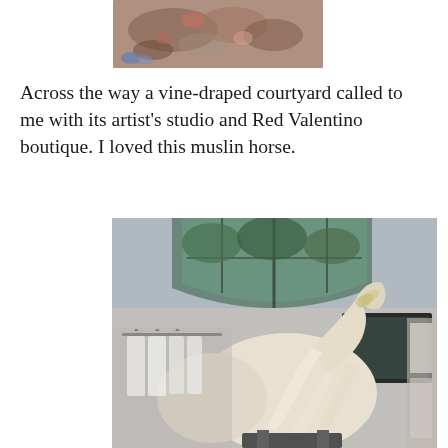[Figure (photo): Partial photo of food or flowers, cropped at top of page]
Across the way a vine-draped courtyard called to me with its artist's studio and Red Valentino boutique. I loved this muslin horse.
[Figure (photo): Interior photo of a Red Valentino boutique featuring a large white muslin horse sculpture with ruffled fabric draped over it, clothing racks visible in the background, and arched windows with trees visible above]